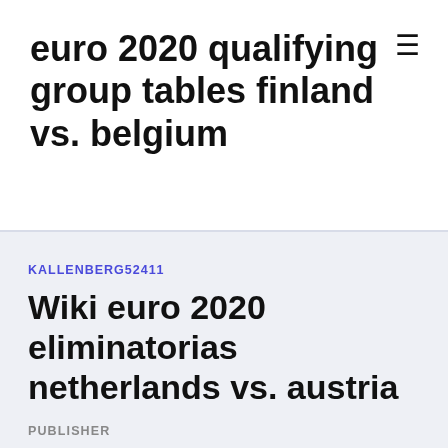euro 2020 qualifying group tables finland vs. belgium
KALLENBERG52411
Wiki euro 2020 eliminatorias netherlands vs. austria
PUBLISHER
Gareth Southgate's side will play Austria in Vienna on Tuesday, 2 June prior to hosting Nov 16, 2019 · BERLIN